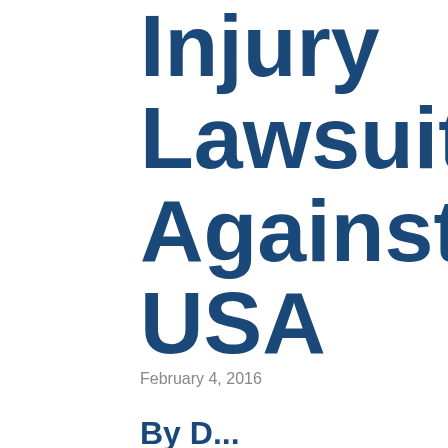Injury Lawsuit Against USA
February 4, 2016
By...